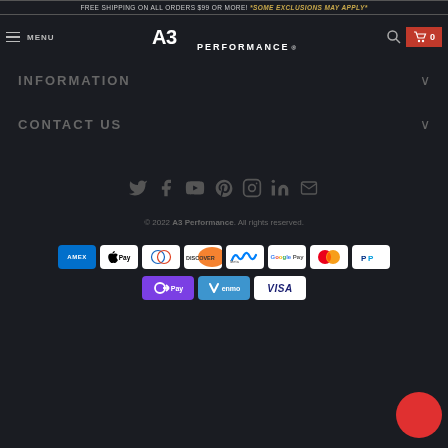FREE SHIPPING ON ALL ORDERS $99 OR MORE! *SOME EXCLUSIONS MAY APPLY*
[Figure (screenshot): A3 Performance website navigation bar with hamburger menu, logo, search icon, and cart button showing 0 items]
INFORMATION
CONTACT US
[Figure (infographic): Social media icons row: Twitter, Facebook, YouTube, Pinterest, Instagram, LinkedIn, Email]
© 2022 A3 Performance. All rights reserved.
[Figure (infographic): Payment method icons: AMEX, Apple Pay, Diners Club, Discover, Meta Pay, Google Pay, Mastercard, PayPal, OPay, Venmo, Visa]